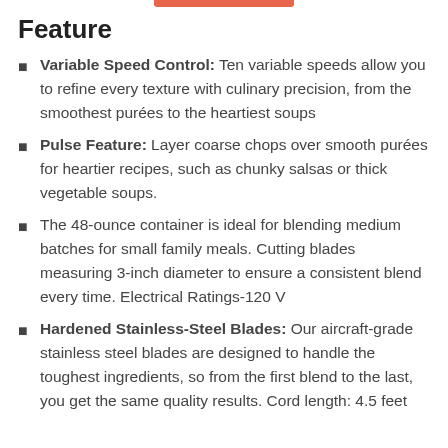Feature
Variable Speed Control: Ten variable speeds allow you to refine every texture with culinary precision, from the smoothest purées to the heartiest soups
Pulse Feature: Layer coarse chops over smooth purées for heartier recipes, such as chunky salsas or thick vegetable soups.
The 48-ounce container is ideal for blending medium batches for small family meals. Cutting blades measuring 3-inch diameter to ensure a consistent blend every time. Electrical Ratings-120 V
Hardened Stainless-Steel Blades: Our aircraft-grade stainless steel blades are designed to handle the toughest ingredients, so from the first blend to the last, you get the same quality results. Cord length: 4.5 feet